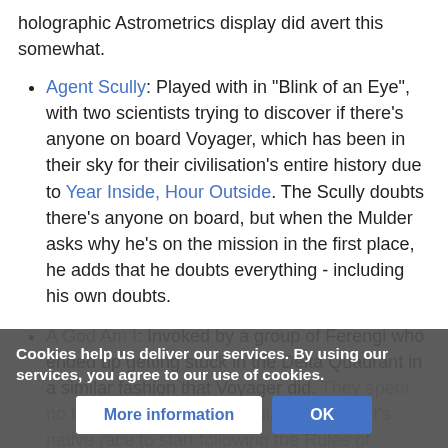holographic Astrometrics display did avert this somewhat.
Agent Scully: Played with in "Blink of an Eye", with two scientists trying to discover if there's anyone on board Voyager, which has been in their sky for their civilisation's entire history due to Year Inside, Hour Outside. The Scully doubts there's anyone on board, but when the Mulder asks why he's on the mission in the first place, he adds that he doubts everything - including his own doubts.
A God Am I: Invoked by a group of Ferengi who ended up getting stuck in the Delta Quadrant in a similar fashion that Voyager did. They spent no time tricking and manipulating a planet's native race to start following the Rules of Acquisition and making them believe that the Ferengi were gods.
Cookies help us deliver our services. By using our services, you agree to our use of cookies.